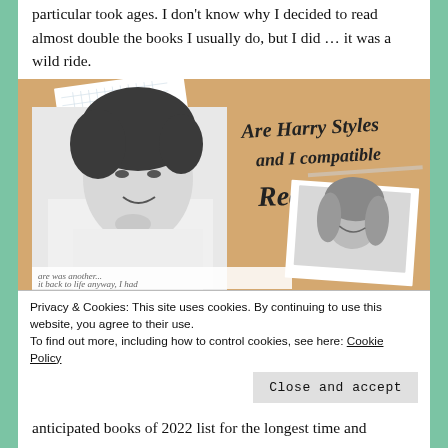particular took ages. I don't know why I decided to read almost double the books I usually do, but I did … it was a wild ride.
[Figure (illustration): A collage image on a tan/sand colored background. On the left is a black-and-white photo of a young man (Harry Styles) with curly hair, smiling with his hand near his chin. On the right is a smaller black-and-white polaroid photo of a young woman smiling. In the background there are torn notebook/graph paper pieces. Handwritten script text reads 'Are Harry Styles and I compatible Readers?' At the bottom of the image there is partially visible text: 'are was another... it back to life anyway, I had']
Privacy & Cookies: This site uses cookies. By continuing to use this website, you agree to their use.
To find out more, including how to control cookies, see here: Cookie Policy
Close and accept
anticipated books of 2022 list for the longest time and